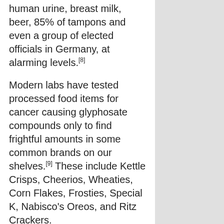human urine, breast milk, beer, 85% of tampons and even a group of elected officials in Germany, at alarming levels.[8]
Modern labs have tested processed food items for cancer causing glyphosate compounds only to find frightful amounts in some common brands on our shelves.[9] These include Kettle Crisps, Cheerios, Wheaties, Corn Flakes, Frosties, Special K, Nabisco's Oreos, and Ritz Crackers.
So we need not only be alarmed by the high sugar content of thes products, but also the
[Figure (photo): Photo of colorful cereal boxes including Corn Flakes, with text overlay reading 'Choosing cereals is fun']